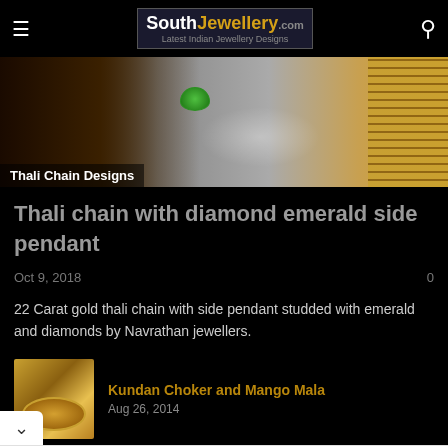SouthJewellery.com - Latest Indian Jewellery Designs
[Figure (photo): Jewelry photo showing thali chain with diamond emerald pendant on dark background, with gold chain on right side]
Thali Chain Designs
Thali chain with diamond emerald side pendant
Oct 9, 2018
0
22 Carat gold thali chain with side pendant studded with emerald and diamonds by Navrathan jewellers.
[Figure (photo): Thumbnail of Kundan Choker and Mango Mala jewelry]
Kundan Choker and Mango Mala
Aug 26, 2014
[Figure (infographic): Advertisement for Topgolf - Family Fun. Contains Topgolf shield logo, text 'Topgolf® - Family Fun', 'Topgolf' in blue, and a blue diamond direction arrow icon.]